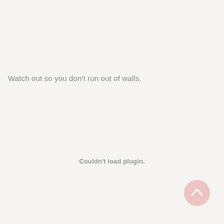Watch out so you don't run out of walls.
Couldn't load plugin.